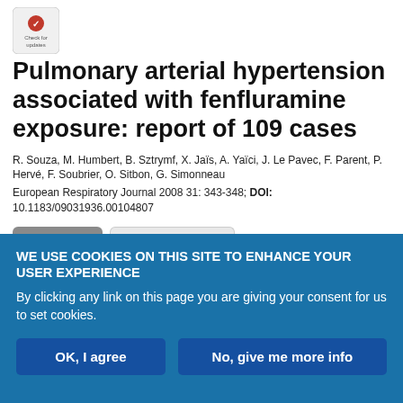[Figure (logo): CrossMark 'Check for updates' badge in top left corner]
Pulmonary arterial hypertension associated with fenfluramine exposure: report of 109 cases
R. Souza, M. Humbert, B. Sztrymf, X. Jaïs, A. Yaïci, J. Le Pavec, F. Parent, P. Hervé, F. Soubrier, O. Sitbon, G. Simonneau
European Respiratory Journal 2008 31: 343-348; DOI: 10.1183/09031936.00104807
Article | Figures & Data (tab buttons)
WE USE COOKIES ON THIS SITE TO ENHANCE YOUR USER EXPERIENCE
By clicking any link on this page you are giving your consent for us to set cookies.
OK, I agree | No, give me more info